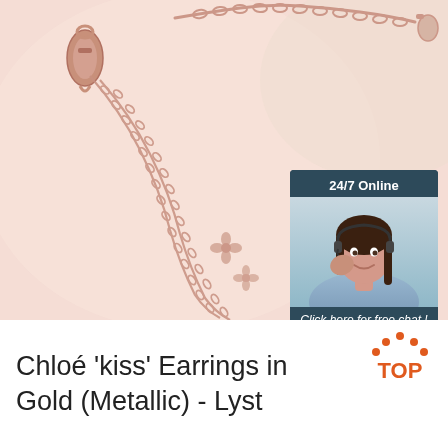[Figure (photo): Rose gold jewelry chain with lobster clasp on pink background, with a '24/7 Online' customer service chat widget overlay showing a woman with headset and 'Click here for free chat! QUOTATION' button]
Chloé 'kiss' Earrings in Gold (Metallic) - Lyst